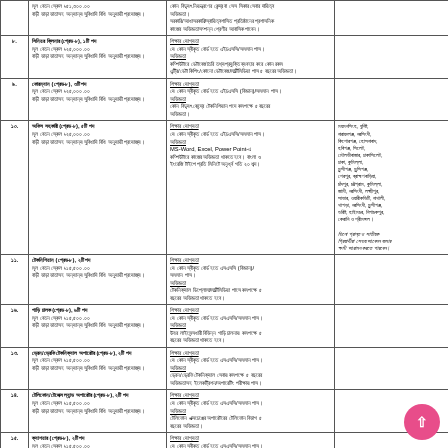| ক্রমিক | পদের নাম ও বেতন স্কেল | শিক্ষাগত যোগ্যতা | জেলা |
| --- | --- | --- | --- |
| ৮. | সিনিয়র ক্লিনার (গ্রেড-৮), ১টি পদ
মূল বেতন স্কেল ৳২৫,০০০.০০
বাড়ী ভাড়া ভাতাসহ অন্যান্য সুবিধাদি বিধি অনুযায়ী প্রযোজ্য। | শিক্ষার যোগ্যতা:
যে কোন স্বীকৃত বোর্ড হতে এইচএসসি/সমমান পাস।
অভিজ্ঞতা:
কম্পিউটারে ডেটাবেজ তৈরি তথ্যপ্রযুক্তি ব্যবহার করে কোন রকম এন্ট্রি/ডেটা কিপিং/কোনো ডেটাবেজ/মাল্টিমিডিয়া পাস ৫ বছরের অভিজ্ঞতা। |  |
| ৯. | ফোরম্যান (গ্রেড-৮), ৩টি পদ
মূল বেতন স্কেল ৳২৫,০০০.০০
বাড়ী ভাড়া ভাতাসহ অন্যান্য সুবিধাদি বিধি অনুযায়ী প্রযোজ্য। | শিক্ষার যোগ্যতা:
যে কোন স্বীকৃত বোর্ড হতে এইচএসসি (বিজ্ঞান)/সমমান পাস।
অভিজ্ঞতা:
কোন বিদ্যুৎ কেন্দ্রে টেকনিশিয়ান পদে কমপক্ষে ৫ বছরের অভিজ্ঞতা। |  |
| ১০. | অফিস সহকারী (গ্রেড-৮), ৫টি পদ
মূল বেতন স্কেল ৳২৫,০০০.০০
বাড়ী ভাড়া ভাতাসহ অন্যান্য সুবিধাদি বিধি অনুযায়ী প্রযোজ্য। | শিক্ষার যোগ্যতা:
যে কোন স্বীকৃত বোর্ড হতে এইচএসসি/সমমান পাস।
অভিজ্ঞতা:
MS-Word, Excel, Power Point-এ কম্পিউটারে কাজের অভিজ্ঞতা থাকতে হবে। বাংলা ও ইংরেজি টাইপে প্রতি মিনিটে অনূর্ধ্ব গতি ২০ শব্দ। | ময়মনসিংহ, ধুনিষ্ট, নারায়নগঞ্জ, নরসিংদী, কিশোরগঞ্জ, হোসনাবাদ, হবিগঞ্জ, সিলেট, মৌলভীবাজার, ঢাকাসিলেট, কুমিল্লা, মুন্সিগঞ্জ... |
| ১১. | টেকনিশিয়ান (গ্রেড-৮), ২টি পদ
মূল বেতন স্কেল ৳১৫,৫০০.০০
বাড়ী ভাড়া ভাতাসহ অন্যান্য সুবিধাদি বিধি অনুযায়ী প্রযোজ্য। | শিক্ষার যোগ্যতা:
যে কোন স্বীকৃত বোর্ড হতে এসএসসি (বিজ্ঞান)/সমমান পাস।
অভিজ্ঞতা:
টেকনিক্যাল ডিপ্লোমা/মাল্টিমিডিয়া পাসে কমপক্ষে ৫ বছরের অভিজ্ঞতা থাকতে হবে। |  |
| ১৬. | গাড়ি চালক (গ্রেড-৮), ৬টি পদ
মূল বেতন স্কেল ৳১৫,৫০০.০০
বাড়ী ভাড়া ভাতাসহ অন্যান্য সুবিধাদি বিধি অনুযায়ী প্রযোজ্য। | শিক্ষার যোগ্যতা:
যে কোন স্বীকৃত বোর্ড হতে এসএসসি/সমমান পাস।
অভিজ্ঞতা:
উষর লাইসেন্সধারী বিভিন্ন গাড়ি চালনায় কমপক্ষে ৫ বছরের অভিজ্ঞতা থাকতে হবে। |  |
| ১৩. | ড্রেন/ড্রেফি টেকনিক্যাল অপারেটর (গ্রেড-৮), ২টি পদ
মূল বেতন স্কেল ৳১৫,৫০০.০০
বাড়ী ভাড়া ভাতাসহ অন্যান্য সুবিধাদি বিধি অনুযায়ী প্রযোজ্য। | শিক্ষার যোগ্যতা:
যে কোন স্বীকৃত বোর্ড হতে এসএসসি/সমমান পাস।
অভিজ্ঞতা:
ড্রেন/ড্রেফি টেকনিক্যাল সেবায় কমপক্ষে ৫ বছরের অভিজ্ঞতাসহ ইলেক ট্রিশন/অপারেটিং পরীক্ষায় পাস। |  |
| ১৪. | টেলিফোন/টেলেক্স ল্যান্ড অপারেটর (গ্রেড-৮), ২টি পদ
মূল বেতন স্কেল ৳১৫,৫০০.০০
বাড়ী ভাড়া ভাতাসহ অন্যান্য সুবিধাদি বিধি অনুযায়ী প্রযোজ্য। | শিক্ষার যোগ্যতা:
যে কোন স্বীকৃত বোর্ড হতে এসএসসি/সমমান পাস।
অভিজ্ঞতা:
টেলিফোন এক্সচেঞ্জের অপারেটরের টেলিফোন বিভাগ ৫ বছরের অভিজ্ঞতা। |  |
| ১৫. | ক্যাশয়ার (গ্রেড-৮), ২টি পদ
মূল বেতন স্কেল ৳১৫,৫০০.০০
বাড়ী ভাড়া ভাতাসহ অন্যান্য সুবিধাদি বিধি অনুযায়ী প্রযোজ্য। | শিক্ষার যোগ্যতা:
যে কোন স্বীকৃত বোর্ড হতে এসএসসি/সমমান পাস।
অভিজ্ঞতা:
যে কোন কাজে কমপক্ষে ৫ বছরের অভিজ্ঞতা। |  |
| ১৬. | সিনিয়র ক্লেনার, ১টি পদ
মূল বেতন স্কেল ৳১৫,৫০০.০০
বাড়ী ভাড়া ভাতাসহ অন্যান্য সুবিধাদি বিধি অনুযায়ী প্রযোজ্য। | শিক্ষার যোগ্যতা:
যে কোন স্বীকৃত বোর্ড হতে এসএসসি/সমমান পাস। | ধুনিষ্ট, নারায়নগঞ্জ, নরসিংদী, কিশোরগঞ্জ, হোসনাবাদ, হবিগঞ্জ, সিলেট, মৌলভীবাজার, ঢাকাসিলেট, কুমিল্লা, মুন্সিগঞ্জ... |
| ১৭. | টেকনিক্যাল মাল্টিমিডিয়া, ৫টি পদ
মূল বেতন স্কেল ৳১৫,৫০০.০০
বাড়ী ভাড়া ভাতাসহ অন্যান্য সুবিধাদি বিধি অনুযায়ী প্রযোজ্য। | শিক্ষার যোগ্যতা:
যে কোন স্বীকৃত বোর্ড হতে এসএসসি/সমমান পাস। |  |
| ১৮. | নিরাপত্তা কর্মী, ২৪টি পদ
মূল বেতন স্কেল ৳১৫,৫০০.০০
বাড়ী ভাড়া ভাতাসহ অন্যান্য সুবিধাদি বিধি অনুযায়ী প্রযোজ্য। | শিক্ষার যোগ্যতা:
যে কোন স্বীকৃত বোর্ড হতে এসএসসি/সমমান পাস।
অভিজ্ঞতা: |  |